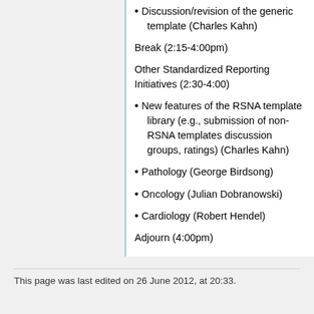Discussion/revision of the generic template (Charles Kahn)
Break (2:15-4:00pm)
Other Standardized Reporting Initiatives (2:30-4:00)
New features of the RSNA template library (e.g., submission of non-RSNA templates discussion groups, ratings) (Charles Kahn)
Pathology (George Birdsong)
Oncology (Julian Dobranowski)
Cardiology (Robert Hendel)
Adjourn (4:00pm)
This page was last edited on 26 June 2012, at 20:33.